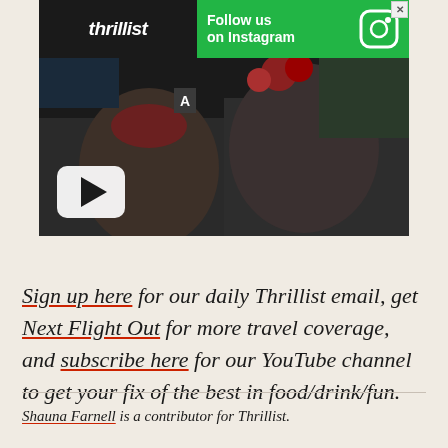[Figure (screenshot): Advertisement banner for Thrillist Instagram and a YouTube video thumbnail showing two men eating pizza/food at a restaurant]
Sign up here for our daily Thrillist email, get Next Flight Out for more travel coverage, and subscribe here for our YouTube channel to get your fix of the best in food/drink/fun.
Shauna Farnell is a contributor for Thrillist.